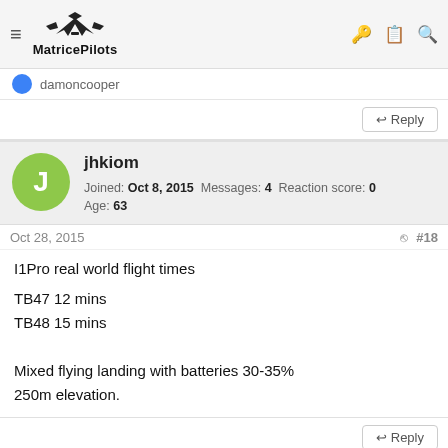MatricePilots
damoncooper
Reply
jhkiom
Joined: Oct 8, 2015  Messages: 4  Reaction score: 0  Age: 63
Oct 28, 2015  #18
I1Pro real world flight times

TB47 12 mins
TB48 15 mins

Mixed flying landing with batteries 30-35%
250m elevation.
Reply